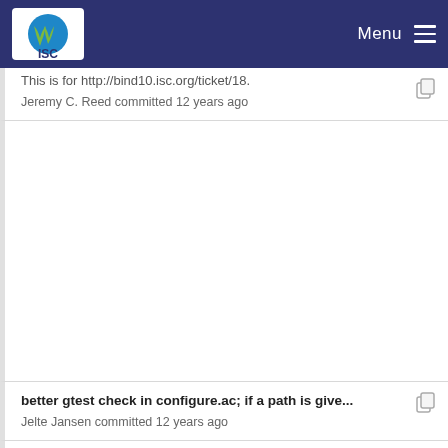ISC — Menu
This is for http://bind10.isc.org/ticket/18. Jeremy C. Reed committed 12 years ago
better gtest check in configure.ac; if a path is give... Jelte Jansen committed 12 years ago
This is for http://bind10.isc.org/ticket/18. Jeremy C. Reed committed 12 years ago